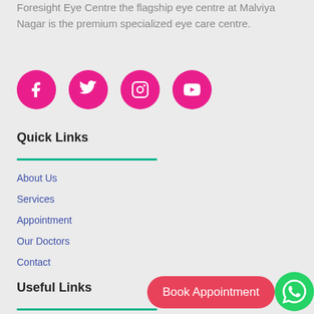Foresight Eye Centre the flagship eye centre at Malviya Nagar is the premium specialized eye care centre.
[Figure (infographic): Four circular hot-pink social media icons: Facebook, Twitter, Instagram, YouTube]
Quick Links
About Us
Services
Appointment
Our Doctors
Contact
Useful Links
[Figure (other): Book Appointment button (pink/red rounded rectangle)]
[Figure (other): WhatsApp floating button (green circle with WhatsApp logo)]